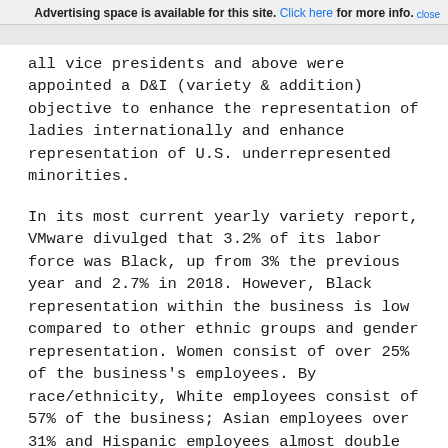Advertising space is available for this site. Click here for more info. close
all vice presidents and above were appointed a D&I (variety & addition) objective to enhance the representation of ladies internationally and enhance representation of U.S. underrepresented minorities.
In its most current yearly variety report, VMware divulged that 3.2% of its labor force was Black, up from 3% the previous year and 2.7% in 2018. However, Black representation within the business is low compared to other ethnic groups and gender representation. Women consist of over 25% of the business's employees. By race/ethnicity, White employees consist of 57% of the business; Asian employees over 31% and Hispanic employees almost double African American peers, at 5.8% of VMware's employees.